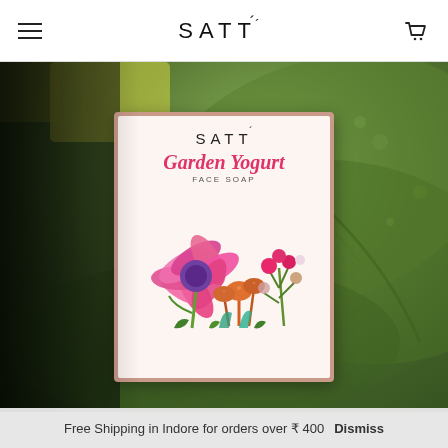SATT — navigation header with hamburger menu and cart icon
[Figure (photo): Product photo of SATT Garden Yogurt Face Soap box against mossy green leaves background. The soap box has a terracotta/dusty rose border with a white label showing the SATT logo, Garden Yogurt in pink italic script, FACE SOAP in small caps, and colorful floral illustration with pink coneflower, orange fungi, and pink berries.]
Free Shipping in Indore for orders over ₹ 400   Dismiss